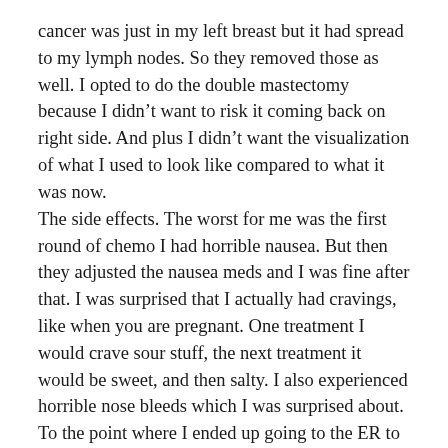cancer was just in my left breast but it had spread to my lymph nodes. So they removed those as well. I opted to do the double mastectomy because I didn't want to risk it coming back on right side. And plus I didn't want the visualization of what I used to look like compared to what it was now. The side effects. The worst for me was the first round of chemo I had horrible nausea. But then they adjusted the nausea meds and I was fine after that. I was surprised that I actually had cravings, like when you are pregnant. One treatment I would crave sour stuff, the next treatment it would be sweet, and then salty. I also experienced horrible nose bleeds which I was surprised about. To the point where I ended up going to the ER to have them cauterize it, because it bled for 3 hours before they did that. DO NOT RESEARCH ON THE INTERNET! It's so scary when you first find out. But just try to wait until you